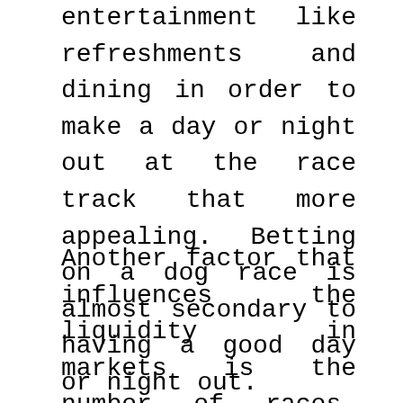entertainment like refreshments and dining in order to make a day or night out at the race track that more appealing. Betting on a dog race is almost secondary to having a good day or night out.
Another factor that influences the liquidity in markets is the number of races. Almost every day there are over 70 races that people can bet on. This spreads an already small